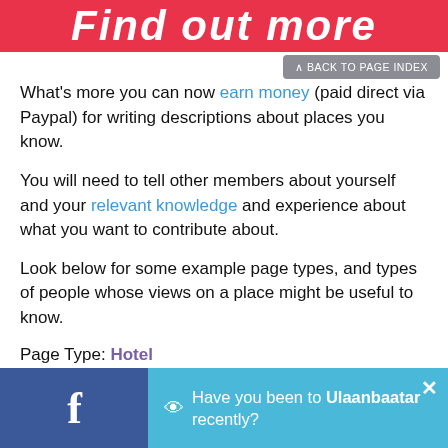Find out more
What's more you can now earn money (paid direct via Paypal) for writing descriptions about places you know.
You will need to tell other members about yourself and your relevant knowledge and experience about what you want to contribute about.
Look below for some example page types, and types of people whose views on a place might be useful to know.
Page Type: Hotel
Are there any special benefits or adaptations that this Hotel or it's location has that you can comment on in your capacity as a Doctor
Tell us your job, kn
Have you been to Ulaanbaatar recently?